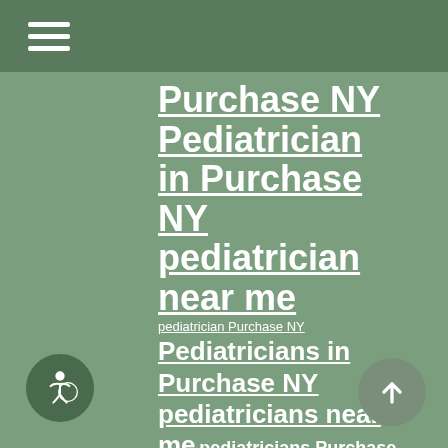(hamburger menu icon)
Purchase NY Pediatrician in Purchase NY pediatrician near me pediatrician Purchase NY Pediatricians in Purchase NY pediatricians near me pediatricians Purchase NY substance abuse treatment for adolescents in Purchase NY substance abuse treatment for adolescents near me teenage drug abuse counseling services teenage drug abuse counseling services near me teenage drug abuse counseling services Purchase NY Teenage Eating Disorders treatment for adolescents with depression in Purchase NY treatment for adolescents with depression